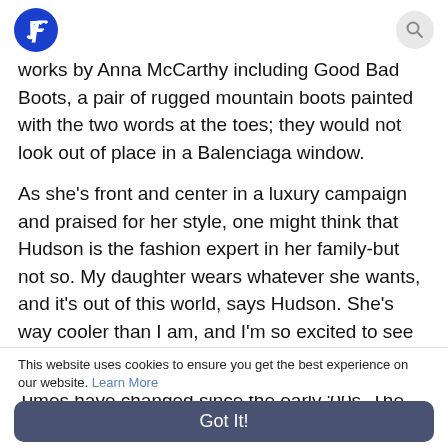F [logo] [search icon]
works by Anna McCarthy including Good Bad Boots, a pair of rugged mountain boots painted with the two words at the toes; they would not look out of place in a Balenciaga window.
As she's front and center in a luxury campaign and praised for her style, one might think that Hudson is the fashion expert in her family-but not so. My daughter wears whatever she wants, and it's out of this world, says Hudson. She's way cooler than I am, and I'm so excited to see how she evolves.
Times have changed since the early '00s. The
This website uses cookies to ensure you get the best experience on our website. Learn More
Got It!